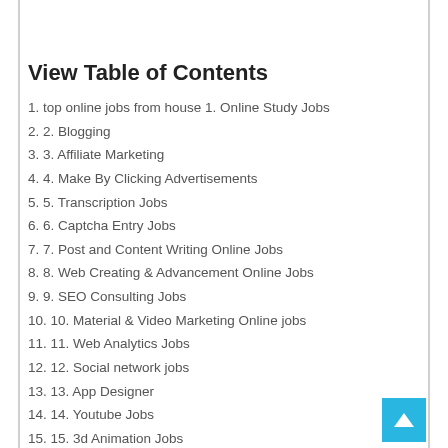View Table of Contents
1. top online jobs from house 1. Online Study Jobs
2. 2. Blogging
3. 3. Affiliate Marketing
4. 4. Make By Clicking Advertisements
5. 5. Transcription Jobs
6. 6. Captcha Entry Jobs
7. 7. Post and Content Writing Online Jobs
8. 8. Web Creating & Advancement Online Jobs
9. 9. SEO Consulting Jobs
10. 10. Material & Video Marketing Online jobs
11. 11. Web Analytics Jobs
12. 12. Social network jobs
13. 13. App Designer
14. 14. Youtube Jobs
15. 15. 3d Animation Jobs
16. 16. Email Marketing Jobs